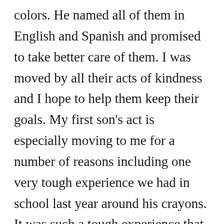colors. He named all of them in English and Spanish and promised to take better care of them. I was moved by all their acts of kindness and I hope to help them keep their goals. My first son's act is especially moving to me for a number of reasons including one very tough experience we had in school last year around his crayons. It was such a tough experience that I had to purchase egg crayons given that normal crayons he used, broke all the time and led to an enormous meltdown. That he promised to now be kind to his crayons may seem trivial, but if you know what he has been through with them, then you will be hopeful. I